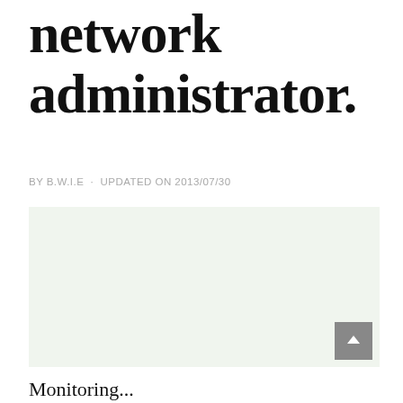network administrator.
BY B.W.I.E · UPDATED ON 2013/07/30
[Figure (other): Light green/mint colored rectangle image placeholder with a gray scroll-to-top button in the bottom right corner]
Monitoring...